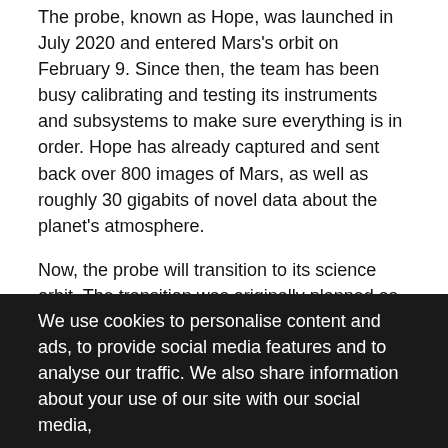The probe, known as Hope, was launched in July 2020 and entered Mars's orbit on February 9. Since then, the team has been busy calibrating and testing its instruments and subsystems to make sure everything is in order. Hope has already captured and sent back over 800 images of Mars, as well as roughly 30 gigabits of novel data about the planet's atmosphere.
Now, the probe will transition to its science orbit. The transition was originally planned as three manoeuvres, but the insertion into the capture orbit went well enough that only two will be required, one on March 22 and a second on April 6.
If both manoeuvres go according to plan, Hope will orbit Mars at an angle of 25 degrees from the equator once every 55 hours. “The Hope probe’s unique orbit is what will enable the mission’s science,” says Hessa Al Matroushi, the mission’s science lead.
Matroushi explains that Hope’s orbit is much larger than that of the other seven Mars orbiters, providing a view of an entire hemisphere with each observation. It is also “designed to be elliptical enough that Hope alternates between hovering near a single local time while many geographic regions rotate underneath, and orbiting above a single geographic region as it experiences different times of day.” As a result, Hope will enable researchers “to observe all regions on Mars at every
We use cookies to personalise content and ads, to provide social media features and to analyse our traffic. We also share information about your use of our site with our social media,